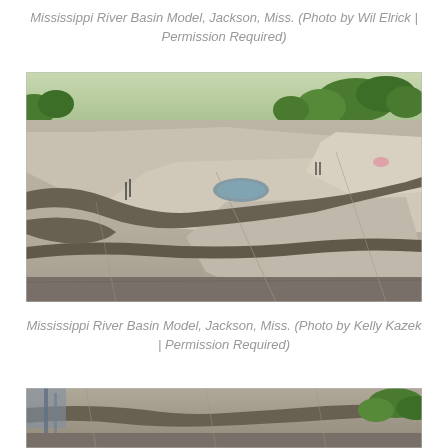Mississippi River Basin Model, Jackson, Miss. (Photo by Wil Elrick | Permission Required)
[Figure (photo): Aerial view of the Mississippi River Basin Model in Jackson, Mississippi, showing large concrete terrain sections with winding channels and sparse vegetation and trees in the background.]
Mississippi River Basin Model, Jackson, Miss. (Photo by Kelly Kazek | Permission Required)
[Figure (photo): Ground-level view of the Mississippi River Basin Model in Jackson, Mississippi, showing concrete sections with water channels, debris, and overgrown vegetation.]